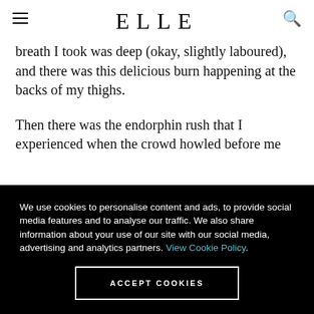ELLE
breath I took was deep (okay, slightly laboured), and there was this delicious burn happening at the backs of my thighs.
Then there was the endorphin rush that I experienced when the crowd howled before me
We use cookies to personalise content and ads, to provide social media features and to analyse our traffic. We also share information about your use of our site with our social media, advertising and analytics partners. View Cookie Policy.
ACCEPT COOKIES